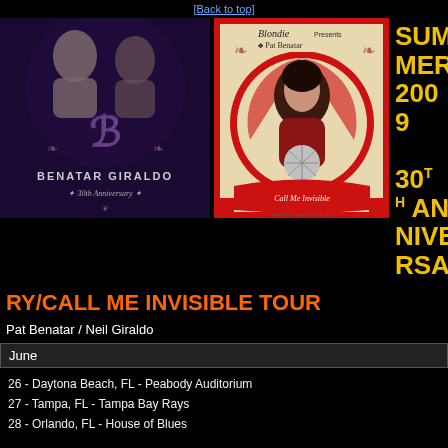[Back to top]
[Figure (illustration): Benatar Giraldo 30th Anniversary promotional image with silhouetted figures and ornate B logo on purple/dark background]
[Figure (illustration): Call Me Invisible tour poster featuring tattooed pin-up style woman with heart motif, red and cream circus-style design, Blondie and Pat Benatar tour branding]
SUMMER 2009 30TH ANNIVERSARY/CALL ME INVISIBLE TOUR
RY/CALL ME INVISIBLE TOUR
Pat Benatar / Neil Giraldo
June
26 - Daytona Beach, FL - Peabody Auditorium
27 - Tampa, FL - Tampa Bay Rays
28 - Orlando, FL - House of Blues